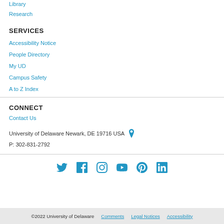Library
Research
SERVICES
Accessibility Notice
People Directory
My UD
Campus Safety
A to Z Index
CONNECT
Contact Us
University of Delaware Newark, DE 19716 USA
P: 302-831-2792
[Figure (infographic): Social media icons row: Twitter, Facebook, Instagram, YouTube, Pinterest, LinkedIn]
©2022 University of Delaware   Comments   Legal Notices   Accessibility